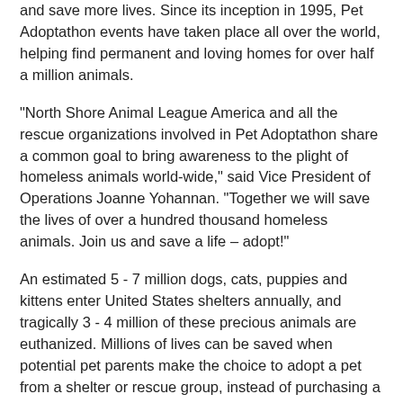and save more lives. Since its inception in 1995, Pet Adoptathon events have taken place all over the world, helping find permanent and loving homes for over half a million animals.
"North Shore Animal League America and all the rescue organizations involved in Pet Adoptathon share a common goal to bring awareness to the plight of homeless animals world-wide," said Vice President of Operations Joanne Yohannan. "Together we will save the lives of over a hundred thousand homeless animals. Join us and save a life – adopt!"
An estimated 5 - 7 million dogs, cats, puppies and kittens enter United States shelters annually, and tragically 3 - 4 million of these precious animals are euthanized. Millions of lives can be saved when potential pet parents make the choice to adopt a pet from a shelter or rescue group, instead of purchasing a pet from a pet store.
Pet Adoptathon is made possible thanks to the support of Presenting Sponsor Purina. For more information on Pet